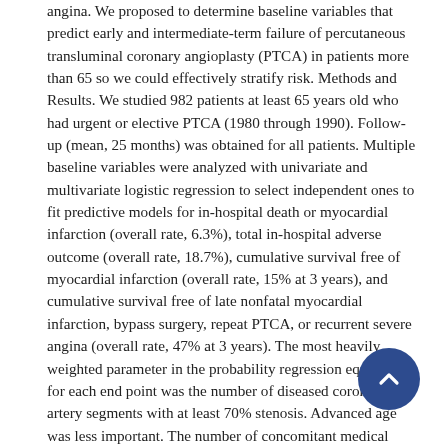angina. We proposed to determine baseline variables that predict early and intermediate-term failure of percutaneous transluminal coronary angioplasty (PTCA) in patients more than 65 so we could effectively stratify risk. Methods and Results. We studied 982 patients at least 65 years old who had urgent or elective PTCA (1980 through 1990). Follow-up (mean, 25 months) was obtained for all patients. Multiple baseline variables were analyzed with univariate and multivariate logistic regression to select independent ones to fit predictive models for in-hospital death or myocardial infarction (overall rate, 6.3%), total in-hospital adverse outcome (overall rate, 18.7%), cumulative survival free of myocardial infarction (overall rate, 15% at 3 years), and cumulative survival free of late nonfatal myocardial infarction, bypass surgery, repeat PTCA, or recurrent severe angina (overall rate, 47% at 3 years). The most heavily weighted parameter in the probability regression equation for each end point was the number of diseased coronary artery segments with at least 70% stenosis. Advanced age was less important. The number of concomitant medical illnesses was predictive of late outcome but not early in-hospital events. Lowest risk quintile versus highest risk quintile event rate was 2.9% versus 14% for acute myocardial infarction or death and 17.2% versus 29% for cumulative in-hospital events. For posthospital events